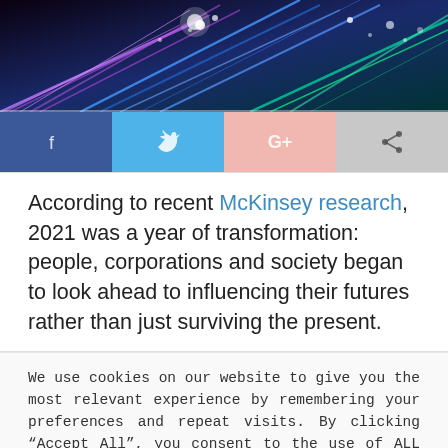[Figure (photo): Abstract colorful fiber optic light streaks in blue, purple, green and white against dark background]
[Figure (infographic): Social media sharing buttons row: Facebook (dark blue with f icon), Twitter (light blue with bird icon), Google+ (pink/salmon with G+ icon), Share (gray with share icon)]
According to recent McKinsey research, 2021 was a year of transformation: people, corporations and society began to look ahead to influencing their futures rather than just surviving the present.
We use cookies on our website to give you the most relevant experience by remembering your preferences and repeat visits. By clicking “Accept All”, you consent to the use of ALL the cookies. However, you may visit "Cookie Settings" to provide a controlled consent.